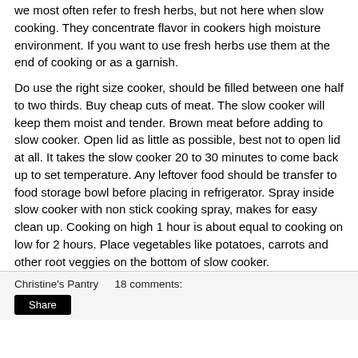we most often refer to fresh herbs, but not here when slow cooking. They concentrate flavor in cookers high moisture environment. If you want to use fresh herbs use them at the end of cooking or as a garnish.
Do use the right size cooker, should be filled between one half to two thirds. Buy cheap cuts of meat. The slow cooker will keep them moist and tender. Brown meat before adding to slow cooker. Open lid as little as possible, best not to open lid at all. It takes the slow cooker 20 to 30 minutes to come back up to set temperature. Any leftover food should be transfer to food storage bowl before placing in refrigerator. Spray inside slow cooker with non stick cooking spray, makes for easy clean up. Cooking on high 1 hour is about equal to cooking on low for 2 hours. Place vegetables like potatoes, carrots and other root veggies on the bottom of slow cooker.
Christine's Pantry    18 comments: